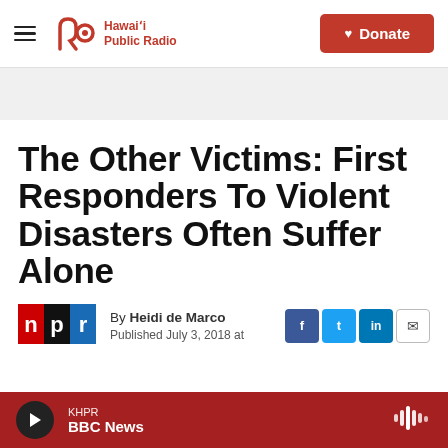Hawaiʻi Public Radio — Donate
The Other Victims: First Responders To Violent Disasters Often Suffer Alone
By Heidi de Marco
Published July 3, 2018 at
KHPR BBC News